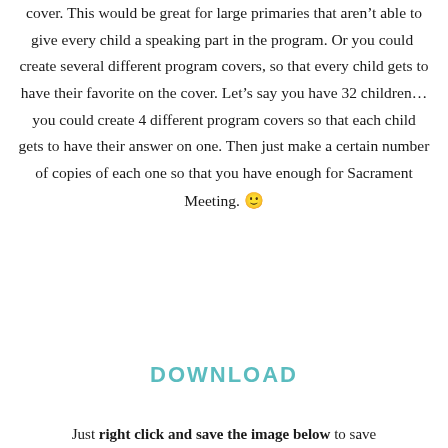cover. This would be great for large primaries that aren't able to give every child a speaking part in the program. Or you could create several different program covers, so that every child gets to have their favorite on the cover. Let's say you have 32 children…you could create 4 different program covers so that each child gets to have their answer on one. Then just make a certain number of copies of each one so that you have enough for Sacrament Meeting. 🙂
DOWNLOAD
Just right click and save the image below to save